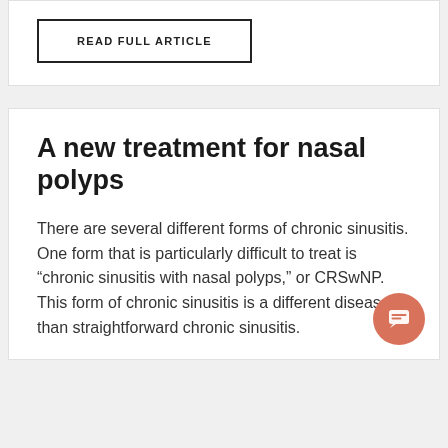READ FULL ARTICLE
A new treatment for nasal polyps
There are several different forms of chronic sinusitis. One form that is particularly difficult to treat is “chronic sinusitis with nasal polyps,” or CRSwNP. This form of chronic sinusitis is a different disease than straightforward chronic sinusitis.